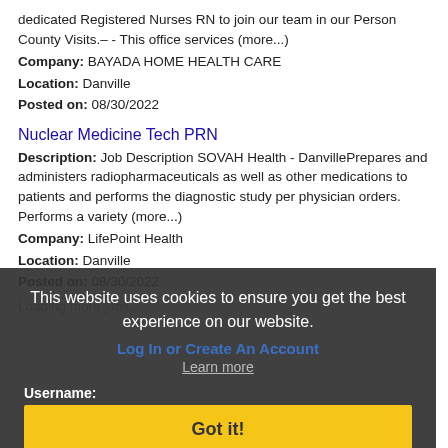dedicated Registered Nurses RN to join our team in our Person County Visits.– - This office services (more...)
Company: BAYADA HOME HEALTH CARE
Location: Danville
Posted on: 08/30/2022
Nuclear Medicine Tech PRN
Description: Job Description SOVAH Health - DanvillePrepares and administers radiopharmaceuticals as well as other medications to patients and performs the diagnostic study per physician orders. Performs a variety (more...)
Company: LifePoint Health
Location: Danville
Posted on: 08/30/2022
Loading more jobs...
This website uses cookies to ensure you get the best experience on our website.
Log In or Create An Account
Learn more
Username:
Got it!
Password: